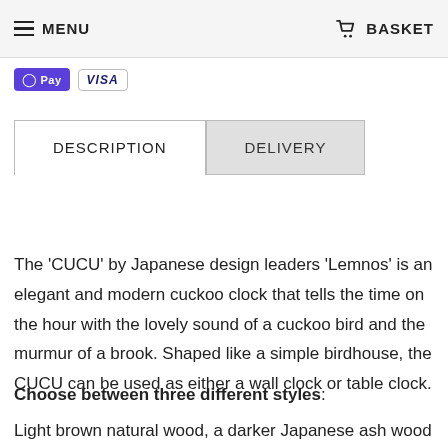MENU   BASKET
[Figure (logo): Apple Pay and VISA payment method icons]
DESCRIPTION | DELIVERY tabs
The 'CUCU' by Japanese design leaders 'Lemnos' is an elegant and modern cuckoo clock that tells the time on the hour with the lovely sound of a cuckoo bird and the murmur of a brook. Shaped like a simple birdhouse, the CUCU can be used as either a wall clock or table clock.
Choose between three different styles: Light brown natural wood, a darker Japanese ash wood grain, and an obsidian